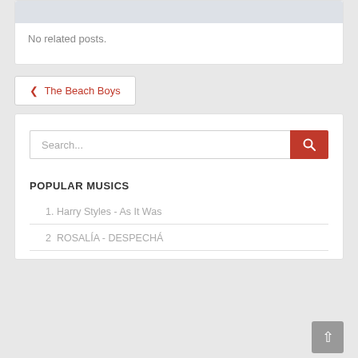No related posts.
❮ The Beach Boys
Search...
POPULAR MUSICS
1. Harry Styles - As It Was
2  ROSALÍA - DESPECHÁ